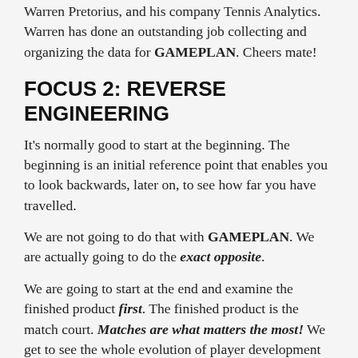Warren Pretorius, and his company Tennis Analytics. Warren has done an outstanding job collecting and organizing the data for GAMEPLAN. Cheers mate!
FOCUS 2: REVERSE ENGINEERING
It's normally good to start at the beginning. The beginning is an initial reference point that enables you to look backwards, later on, to see how far you have travelled.
We are not going to do that with GAMEPLAN. We are actually going to do the exact opposite.
We are going to start at the end and examine the finished product first. The finished product is the match court. Matches are what matters the most! We get to see the whole evolution of player development laid out right before our eyes.
Here's the normal order of how our sport is